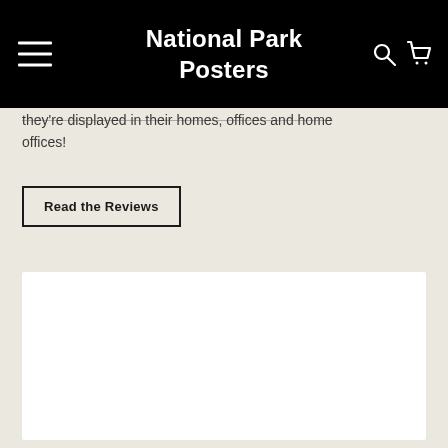National Park Posters
they're displayed in their homes, offices and home offices!
Read the Reviews
[Figure (other): White rectangular content placeholder box on beige background]